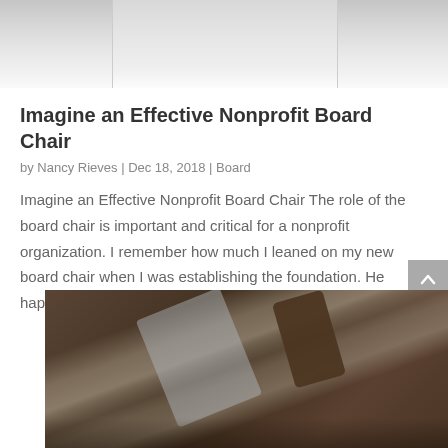[Figure (photo): Top portion of a photo showing what appears to be an open book or document on a light surface, cropped at top of page]
Imagine an Effective Nonprofit Board Chair
by Nancy Rieves | Dec 18, 2018 | Board
Imagine an Effective Nonprofit Board Chair The role of the board chair is important and critical for a nonprofit organization. I remember how much I leaned on my new board chair when I was establishing the foundation. He happened to be the CEO of a large foundation, a...
[Figure (photo): Bottom photo showing a lanyard/badge holder with a clipboard or ID card in dark brown/wood toned background]